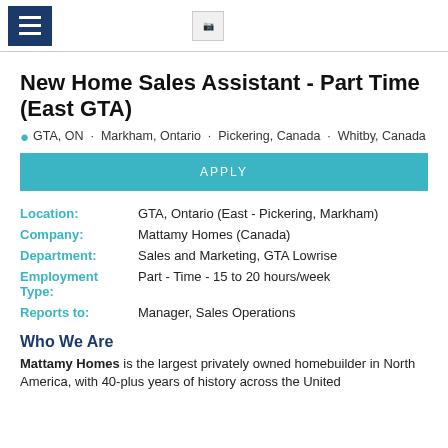[Navigation menu icon] [Logo]
New Home Sales Assistant - Part Time (East GTA)
GTA, ON · Markham, Ontario · Pickering, Canada · Whitby, Canada
APPLY
| Field | Value |
| --- | --- |
| Location: | GTA, Ontario (East - Pickering, Markham) |
| Company: | Mattamy Homes (Canada) |
| Department: | Sales and Marketing, GTA Lowrise |
| Employment Type: | Part - Time - 15 to 20 hours/week |
| Reports to: | Manager, Sales Operations |
Who We Are
Mattamy Homes is the largest privately owned homebuilder in North America, with 40-plus years of history across the United